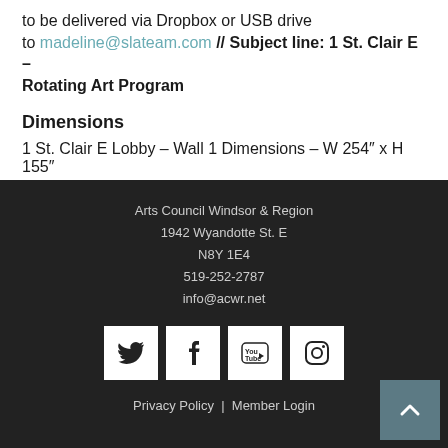to be delivered via Dropbox or USB drive to madeline@slateam.com // Subject line: 1 St. Clair E – Rotating Art Program
Dimensions
1 St. Clair E Lobby – Wall 1 Dimensions – W 254″ x H 155″
Arts Council Windsor & Region
1942 Wyandotte St. E
N8Y 1E4
519-252-2787
info@acwr.net

Privacy Policy | Member Login